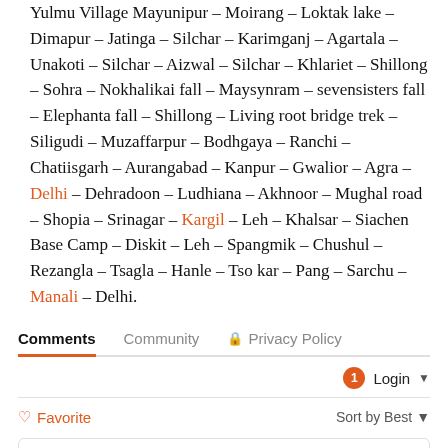Yulmu Village Mayunipur – Moirang – Loktak lake – Dimapur – Jatinga – Silchar – Karimganj – Agartala – Unakoti – Silchar – Aizwal – Silchar – Khlariet – Shillong – Sohra – Nokhalikai fall – Maysynram – sevensisters fall – Elephanta fall – Shillong – Living root bridge trek – Siligudi – Muzaffarpur – Bodhgaya – Ranchi – Chatiisgarh – Aurangabad – Kanpur – Gwalior – Agra – Delhi – Dehradoon – Ludhiana – Akhnoor – Mughal road – Shopia – Srinagar – Kargil – Leh – Khalsar – Siachen Base Camp – Diskit – Leh – Spangmik – Chushul – Rezangla – Tsagla – Hanle – Tso kar – Pang – Sarchu – Manali – Delhi.
Comments  Community  Privacy Policy
Login
Favorite  Sort by Best
Start the discussion...